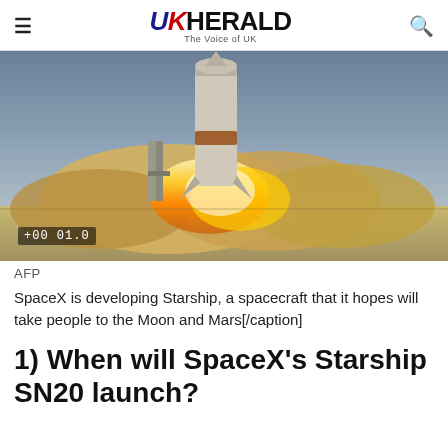UK HERALD – The Voice of UK
[Figure (photo): SpaceX Starship rocket lifting off with large orange and yellow fire and smoke clouds at the base, timestamp overlay showing +00:01.0]
AFP
SpaceX is developing Starship, a spacecraft that it hopes will take people to the Moon and Mars[/caption]
1) When will SpaceX's Starship SN20 launch?